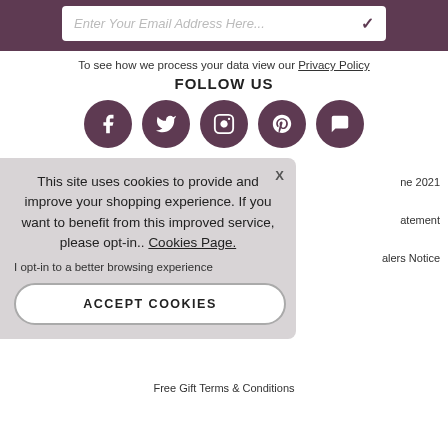[Figure (screenshot): Email input field with placeholder 'Enter Your Email Address Here...' and a checkmark icon on a white background inside a purple bar]
To see how we process your data view our Privacy Policy
FOLLOW US
[Figure (infographic): Five circular purple social media icons: Facebook, Twitter, Instagram, Pinterest, and Chat/Message]
This site uses cookies to provide and improve your shopping experience. If you want to benefit from this improved service, please opt-in.. Cookies Page.
I opt-in to a better browsing experience
ACCEPT COOKIES
ne 2021
atement
alers Notice
Free Gift Terms & Conditions